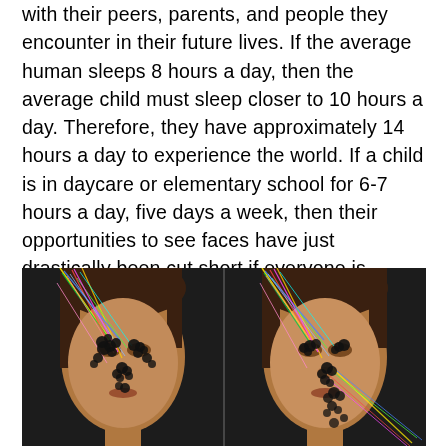with their peers, parents, and people they encounter in their future lives. If the average human sleeps 8 hours a day, then the average child must sleep closer to 10 hours a day. Therefore, they have approximately 14 hours a day to experience the world. If a child is in daycare or elementary school for 6-7 hours a day, five days a week, then their opportunities to see faces have just drastically been cut short if everyone is wearing a mask constantly.
[Figure (photo): Two side-by-side photos of a woman's face against a dark background, with overlaid eye-tracking or facial landmark data shown as colored lines radiating from various points and black circular markers clustered around facial features, particularly the eyes and nose area.]